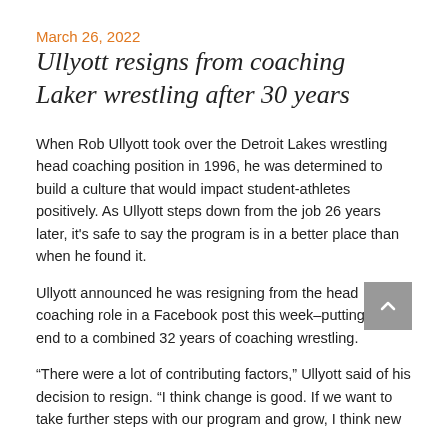March 26, 2022
Ullyott resigns from coaching Laker wrestling after 30 years
When Rob Ullyott took over the Detroit Lakes wrestling head coaching position in 1996, he was determined to build a culture that would impact student-athletes positively. As Ullyott steps down from the job 26 years later, it's safe to say the program is in a better place than when he found it.
Ullyott announced he was resigning from the head coaching role in a Facebook post this week–putting an end to a combined 32 years of coaching wrestling.
“There were a lot of contributing factors,” Ullyott said of his decision to resign. “I think change is good. If we want to take further steps with our program and grow, I think new